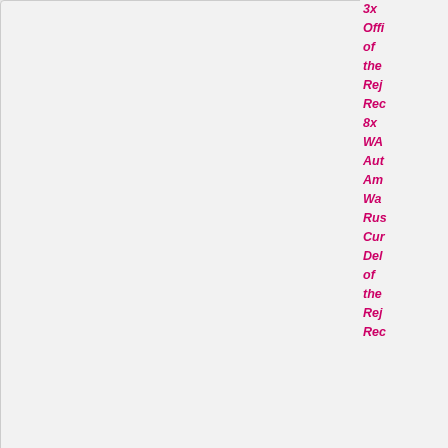[Figure (screenshot): Partial view of a forum post page showing a right-side sidebar with italic pink/red text listing forum roles/titles (3x Officer of the Rej Rec, 8x WA Author Ambassador Warden Rush Curr Del of the Rej Rec), a scroll button, and a lower post card with an avatar image of a cartoon character (Futurama-style), username Wayneactia, rank Senator, Posts: 3649, Founded: Aug 01, 2014, and a quote button, with post date Sun Nov 28, 2021 6:08 pm.]
3x Officer of the Rej Rec 8x WA Author Ambassador Warden Rush Curr Del of the Rej Rec
by Wayneactia » Sun Nov 28, 2021 6:08 pm
Wayneactia
Senator
Posts: 3649
Founded: Aug 01, 2014